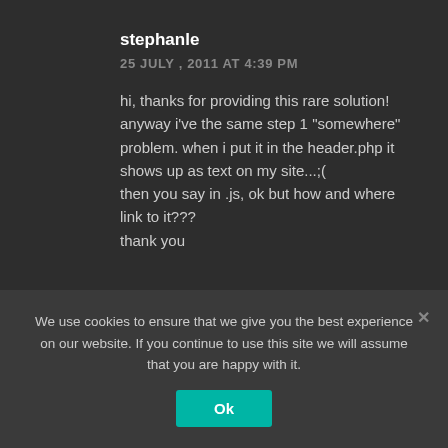stephanle
25 JULY , 2011 AT 4:39 PM
hi, thanks for providing this rare solution!
anyway i've the same step 1 "somewhere" problem. when i put it in the header.php it shows up as text on my site...;(
then you say in .js, ok but how and where link to it???
thank you
We use cookies to ensure that we give you the best experience on our website. If you continue to use this site we will assume that you are happy with it.